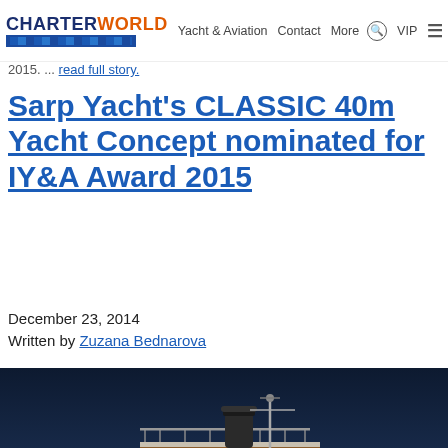CHARTERWORLD | Yacht & Aviation | Contact More VIP
2015. ... read full story.
Sarp Yacht's CLASSIC 40m Yacht Concept nominated for IY&A Award 2015
December 23, 2014
Written by Zuzana Bednarova
[Figure (photo): Nighttime rendering of the Sarp Yacht CLASSIC 40m concept, a white classic-style motor yacht illuminated with warm lights against a dark blue sky and calm sea.]